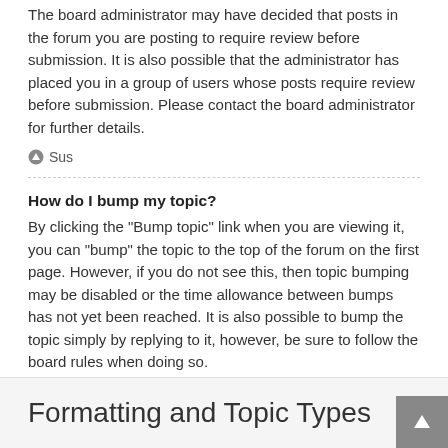The board administrator may have decided that posts in the forum you are posting to require review before submission. It is also possible that the administrator has placed you in a group of users whose posts require review before submission. Please contact the board administrator for further details.
↑ Sus
How do I bump my topic?
By clicking the "Bump topic" link when you are viewing it, you can "bump" the topic to the top of the forum on the first page. However, if you do not see this, then topic bumping may be disabled or the time allowance between bumps has not yet been reached. It is also possible to bump the topic simply by replying to it, however, be sure to follow the board rules when doing so.
↑ Sus
Formatting and Topic Types